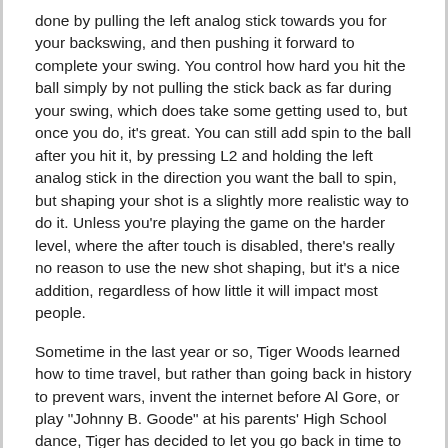done by pulling the left analog stick towards you for your backswing, and then pushing it forward to complete your swing. You control how hard you hit the ball simply by not pulling the stick back as far during your swing, which does take some getting used to, but once you do, it's great. You can still add spin to the ball after you hit it, by pressing L2 and holding the left analog stick in the direction you want the ball to spin, but shaping your shot is a slightly more realistic way to do it. Unless you're playing the game on the harder level, where the after touch is disabled, there's really no reason to use the new shot shaping, but it's a nice addition, regardless of how little it will impact most people.
Sometime in the last year or so, Tiger Woods learned how to time travel, but rather than going back in history to prevent wars, invent the internet before Al Gore, or play "Johnny B. Goode" at his parents' High School dance, Tiger has decided to let you go back in time to prove that you're the greatest golfer of all time. This is called rivals mode, and it's similar to last year's legends pursuit" except that you're now taking on golfers like Nicklaus, Palmer, Hogan in their own time period, and eventually modern players like Daly, Mickleson, and Tiger. You'll play against an assorted cast of characters, each with their own